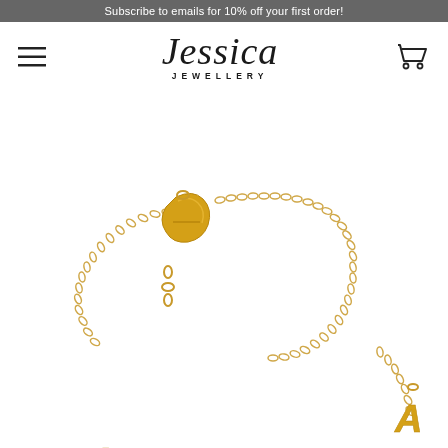Subscribe to emails for 10% off your first order!
[Figure (logo): Jessica Jewellery script logo with hamburger menu icon on left and shopping cart icon on right]
[Figure (photo): Gold initial letter bracelet with lobster clasp and chain link, showing letter A charm, on white background]